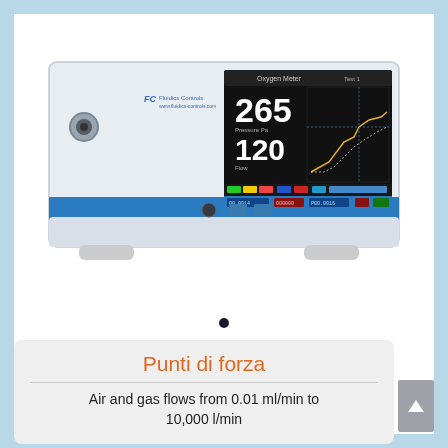[Figure (photo): Photo of a Fluidics Controls gas flow measurement device — a white rectangular rack-mount instrument with a blue horizontal stripe, USB ports, and a large touchscreen display showing readings of 265 and 120 with a graph.]
Punti di forza
Air and gas flows from 0.01 ml/min to 10,000 l/min